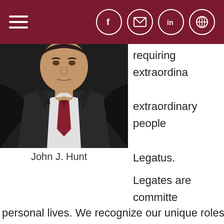Navigation header with hamburger menu and social icons (Facebook, email, LinkedIn, globe)
[Figure (photo): Headshot of a man in a dark business suit with a red patterned tie and white dress shirt]
John J. Hunt
requiring extraordina extraordinary people Legatus.
Legates are committe faith in their business personal lives. We recognize our unique roles in influenc employees and communities. We can only achieve the lo burden of leadership if we exhibit that leadership by serv of God, people of interior life, and people of prayer and s
Our apostolate must be the overflow of our interior life. achieved to its fullest through a close, personal relations